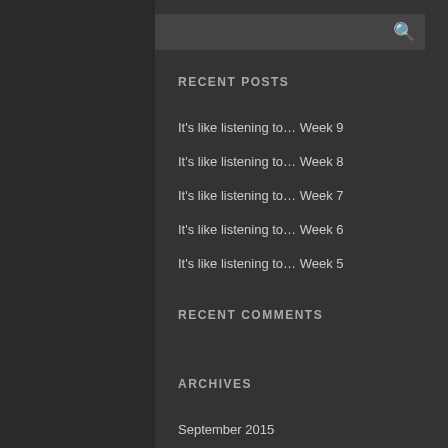RECENT POSTS
It's like listening to… Week 9
It's like listening to… Week 8
It's like listening to… Week 7
It's like listening to… Week 6
It's like listening to… Week 5
RECENT COMMENTS
ARCHIVES
September 2015